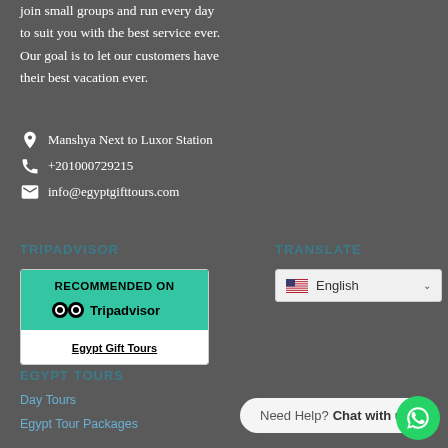join small groups and run every day to suit you with the best service ever. Our goal is to let our customers have their best vacation ever.
📍 Manshya Next to Luxor Station
📞 +201000729215
✉ info@egyptgifttours.com
TRIPADVISOR
[Figure (logo): TripAdvisor recommended badge with green top section showing 'RECOMMENDED ON' and TripAdvisor logo, and white bottom section showing 'Egypt Gift Tours']
TRANSLATE
[Figure (screenshot): Language selector dropdown showing US flag and 'English' with dropdown arrow]
EGYPT TOURS
Day Tours
Egypt Tour Packages
Need Help? Chat with us